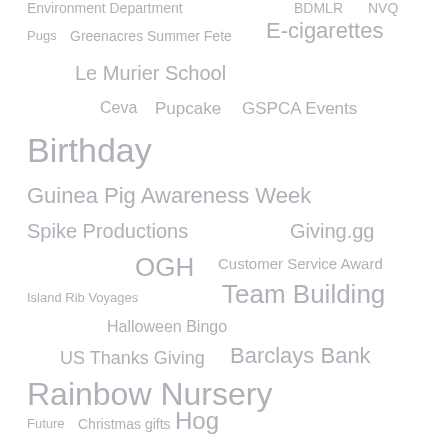[Figure (infographic): A tag cloud / word cloud containing various terms in different font sizes and positions, all rendered in light gray. Terms include: Environment Department, BDMLR, NVQ, Pugs, Greenacres Summer Fete, E-cigarettes, Le Murier School, Ceva, Pupcake, GSPCA Events, Birthday, Guinea Pig Awareness Week, Spike Productions, Giving.gg, OGH, Customer Service Award, Island Rib Voyages, Team Building, Halloween Bingo, US Thanks Giving, Barclays Bank, Rainbow Nursery, Future, Christmas gifts, Hog, The World's Boldest Ever, Kindness Experiment, Cormorant, Zebra Finch, Sarnia Estate Agents, Hustings]